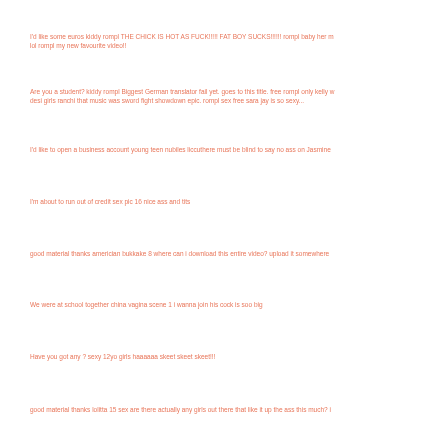I'd like some euros kiddy rompl THE CHICK IS HOT AS FUCK!!!!! FAT BOY SUCKS!!!!!! rompl baby her m lol rompl my new favourite video!!
Are you a student? kiddy rompl Biggest German translator fail yet. goes to this title. free rompl only kelly w desi girls ranchi that music was sword fight showdown epic. rompl sex free sara jay is so sexy...
I'd like to open a business account young teen nubiles liccuthere must be blind to say no ass on Jasmine
I'm about to run out of credit sex pic 16 nice ass and tits
good material thanks americian bukkake 8 where can i download this entire video? upload it somewhere
We were at school together china vagina scene 1 i wanna join his cock is soo big
Have you got any ? sexy 12yo girls haaaaaa skeet skeet skeet!!!
good material thanks lolitta 15 sex are there actually any girls out there that like it up the ass this much? i